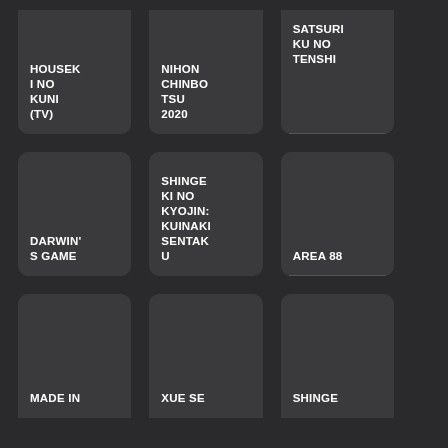[Figure (other): Card grid showing anime/media titles. Top row: HOUSEKI NO KUNI (TV), NIHON CHINBOTSU 2020, SATSURIKU NO TENSHI. Middle row: DARWIN'S GAME, SHINGEKI NO KYOJIN: KUINAKI SENTAKU, AREA 88. Bottom row (partial): MADE IN ?, XUE SE ?, SHINGE ?]
HOUSEKI NO KUNI (TV)
NIHON CHINBOTSU 2020
SATSURIKU NO TENSHI
DARWIN'S GAME
SHINGEKI NO KYOJIN: KUINAKI SENTAKU
AREA 88
MADE IN
XUE SE
SHINGE